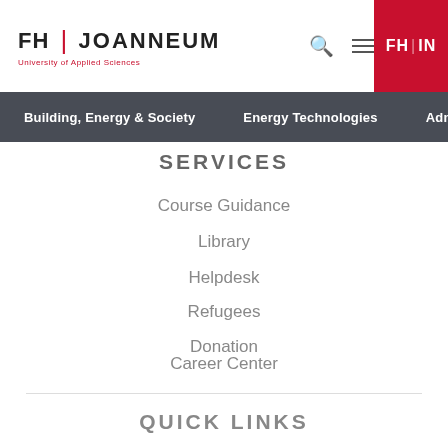FH JOANNEUM University of Applied Sciences
Building, Energy & Society | Energy Technologies | Admissi...
SERVICES
Course Guidance
Library
Helpdesk
Refugees
Donation
Career Center
QUICK LINKS